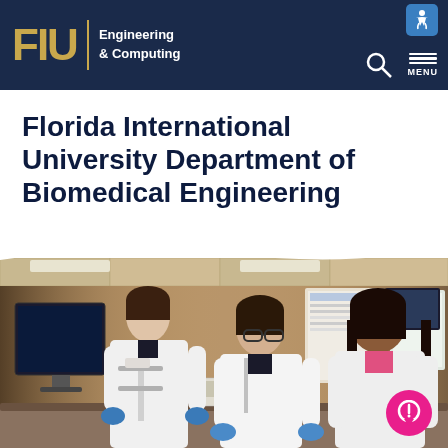FIU Engineering & Computing
Florida International University Department of Biomedical Engineering
[Figure (photo): Three female students in white lab coats working in a biomedical engineering laboratory. One student on the left stands at a computer monitor, the middle student wears glasses and examines something on the lab bench, and the right student looks at lab equipment. They are wearing blue latex gloves. Lab equipment and posters are visible in the background.]